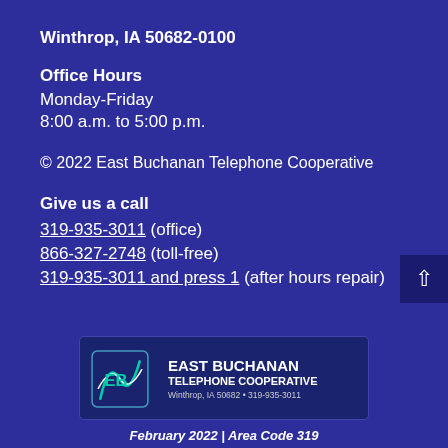Winthrop, IA 50682-0100
Office Hours
Monday-Friday
8:00 a.m. to 5:00 p.m.
© 2022 East Buchanan Telephone Cooperative
Give us a call
319-935-3011 (office)
866-327-2748 (toll-free)
319-935-3011 and press 1 (after hours repair)
[Figure (logo): East Buchanan Telephone Cooperative logo with stylized EB icon, company name, and address: Winthrop, IA 50682 • 319-935-3011]
February 2022 | Area Code 319